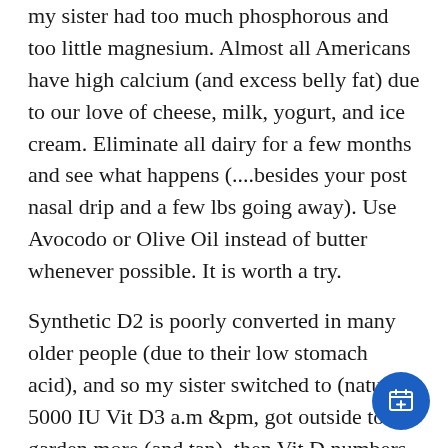my sister had too much phosphorous and too little magnesium. Almost all Americans have high calcium (and excess belly fat) due to our love of cheese, milk, yogurt, and ice cream. Eliminate all dairy for a few months and see what happens (....besides your post nasal drip and a few lbs going away). Use Avocodo or Olive Oil instead of butter whenever possible. It is worth a try.
Synthetic D2 is poorly converted in many older people (due to their low stomach acid), and so my sister switched to (natural) 5000 IU Vit D3 a.m &pm, got outside to garden more (and tan), then Vit D numbers started to climb. Now 57, she is not 100%, but doing a lot better than